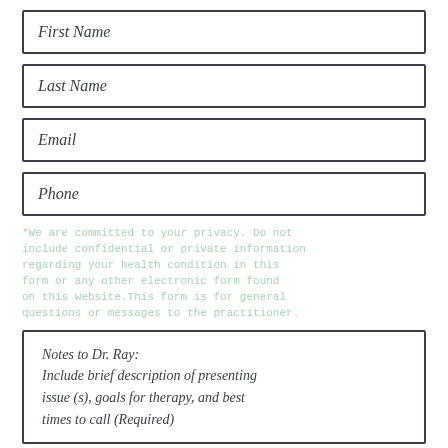First Name
Last Name
Email
Phone
*We are committed to your privacy. Do not include confidential or private information regarding your health condition in this form or any other electronic form found on this website.This form is for general questions or messages to the practitioner.
Notes to Dr. Ray: Include brief description of presenting issue (s), goals for therapy, and best times to call (Required)